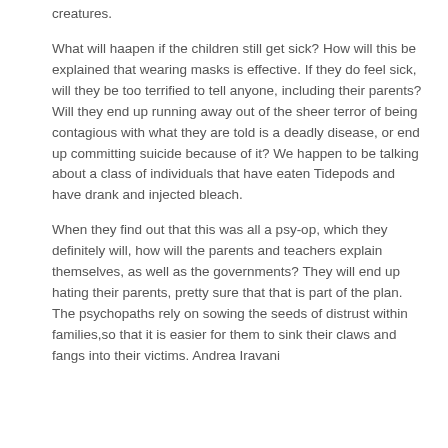creatures.
What will haapen if the children still get sick? How will this be explained that wearing masks is effective. If they do feel sick, will they be too terrified to tell anyone, including their parents? Will they end up running away out of the sheer terror of being contagious with what they are told is a deadly disease, or end up committing suicide because of it? We happen to be talking about a class of individuals that have eaten Tidepods and have drank and injected bleach.
When they find out that this was all a psy-op, which they definitely will, how will the parents and teachers explain themselves, as well as the governments? They will end up hating their parents, pretty sure that that is part of the plan. The psychopaths rely on sowing the seeds of distrust within families,so that it is easier for them to sink their claws and fangs into their victims. Andrea Iravani